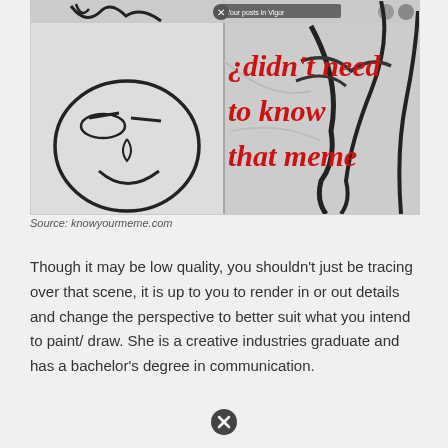[Figure (illustration): Meme image split into two panels. Left panel: a crude hand-drawn smiley face (troll face style). Right panel: a hand reaching out with red bold text overlay reading: 'didn't need to know that meme'. Small UI overlay visible at top (social media interface elements with a close X button).]
Source: knowyourmeme.com
Though it may be low quality, you shouldn't just be tracing over that scene, it is up to you to render in or out details and change the perspective to better suit what you intend to paint/ draw. She is a creative industries graduate and has a bachelor's degree in communication.